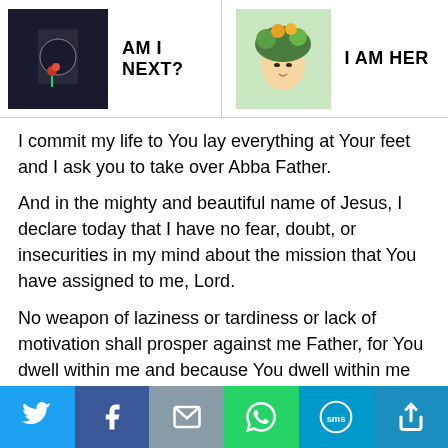AM I NEXT? | I AM HER
I commit my life to You lay everything at Your feet and I ask you to take over Abba Father.
And in the mighty and beautiful name of Jesus, I declare today that I have no fear, doubt, or insecurities in my mind about the mission that You have assigned to me, Lord.
No weapon of laziness or tardiness or lack of motivation shall prosper against me Father, for You dwell within me and because You dwell within me
I can do anything because Christ, Your son, gives me strength.